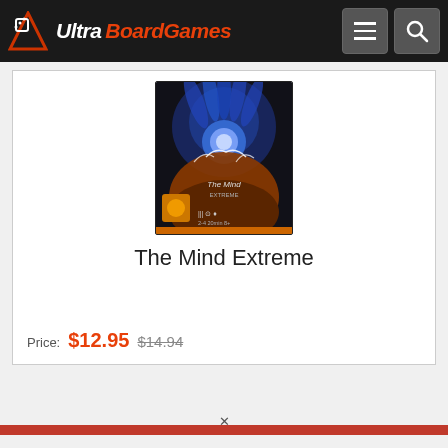UltraBoardGames
[Figure (photo): The Mind Extreme board game box cover showing stylized hands and glowing orb imagery against a dark background]
The Mind Extreme
Price: $12.95  $14.94